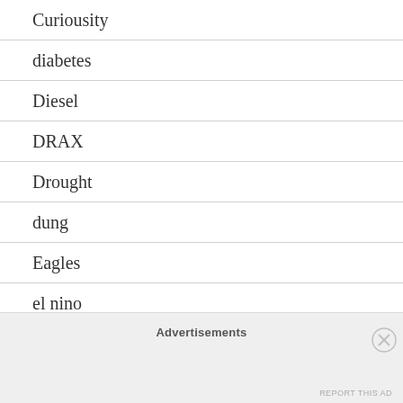Curiousity
diabetes
Diesel
DRAX
Drought
dung
Eagles
el nino
Electricity
Environment Canada Data
Advertisements